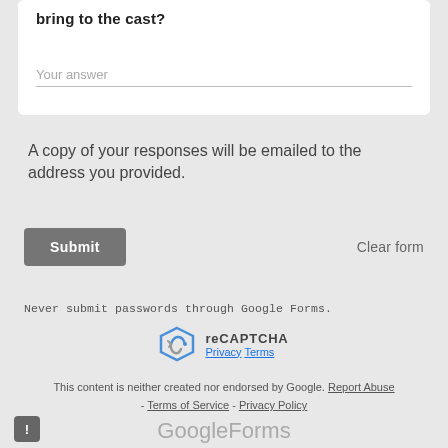bring to the cast?
Your answer
A copy of your responses will be emailed to the address you provided.
Submit
Clear form
Never submit passwords through Google Forms.
[Figure (logo): reCAPTCHA logo with Privacy and Terms links]
This content is neither created nor endorsed by Google. Report Abuse - Terms of Service - Privacy Policy
Google Forms